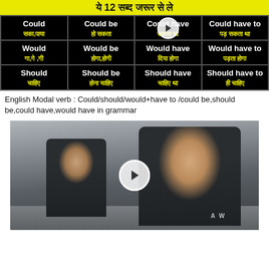ये 12 सब्द जरूर से ले
| Could | Could be | Could have | Could have to |
| --- | --- | --- | --- |
| सका,पाया | हो सकता | सकता था | पड़ सकता था |
| Would
गा,गे ,गी | Would be
होगा,होगी | Would have
दिया होगा | Would have to
पड़ता होगा |
| Should
चाहिए | Should be
होना चाहिए | Should have
चाहिए था | Should have to
ही चाहिए |
English Modal verb : Could/should/would+have to /could be,should be,could have,would have in grammar
[Figure (photo): Two women in police uniforms standing outdoors on a street, video thumbnail with play button overlay]